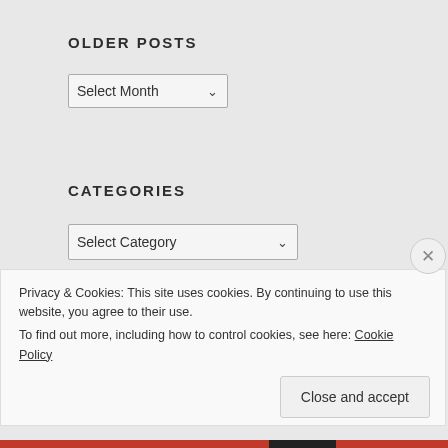OLDER POSTS
[Figure (screenshot): Dropdown select box labeled 'Select Month' with a chevron arrow on the right]
CATEGORIES
[Figure (screenshot): Dropdown select box labeled 'Select Category' with a chevron arrow on the right]
FOLLOW BLOG VIA EMAIL
Enter your email address to follow this blog and receive
Privacy & Cookies: This site uses cookies. By continuing to use this website, you agree to their use.
To find out more, including how to control cookies, see here: Cookie Policy
Close and accept